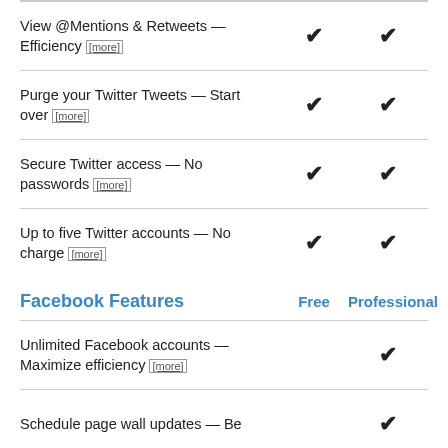View @Mentions & Retweets — Efficiency [more]
Purge your Twitter Tweets — Start over [more]
Secure Twitter access — No passwords [more]
Up to five Twitter accounts — No charge [more]
Facebook Features
Unlimited Facebook accounts — Maximize efficiency [more]
Schedule page wall updates — Be